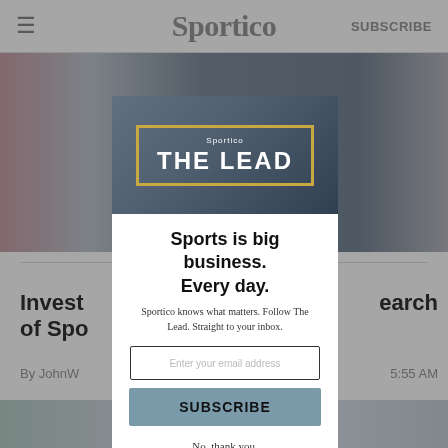Sportico | SUBSCRIBE
[Figure (screenshot): Sportico website background showing sports images and article headlines partially visible behind a modal popup overlay]
[Figure (illustration): The Lead newsletter banner: gold-bordered box on dark background with 'Sportico' above and 'THE LEAD' in bold white text]
Sports is big business. Every day.
Sportico knows what matters. Follow The Lead. Straight to your inbox.
Enter your email address
SUBSCRIBE
No, thank you.